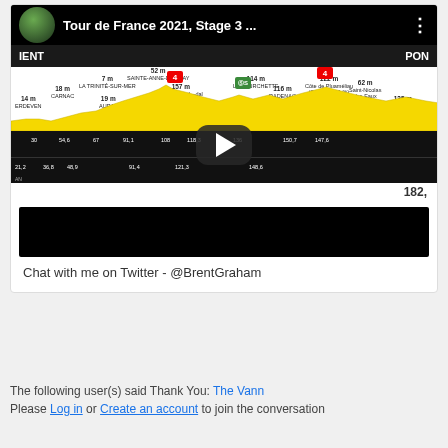[Figure (screenshot): YouTube video thumbnail showing Tour de France 2021 Stage 3 stage profile with elevation markers, location labels, climb flags, and a play button overlay. Locations include Erdeven, Carnac, La Trinité-sur-Mer, Auray, Sainte-Anne-d'Auray, Grand-Champ, Plumelec, Josselin, La Fourchette, Radenac, Locminé, Saint-Nicolas des Eaux, and Guern. Two red Cat 4 climb flags and one green sprint flag visible.]
[Figure (screenshot): Black video bar below the stage profile.]
Chat with me on Twitter - @BrentGraham
The following user(s) said Thank You: The Vann
Please Log in or Create an account to join the conversation